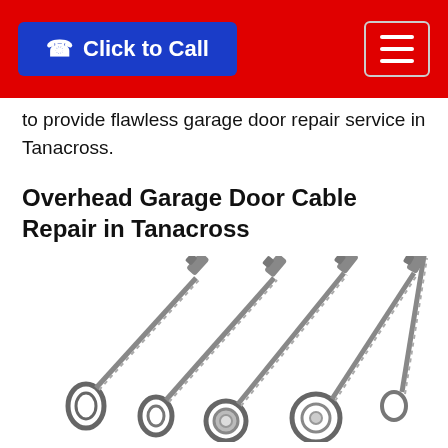Click to Call
to provide flawless garage door repair service in Tanacross.
Overhead Garage Door Cable Repair in Tanacross
[Figure (photo): Five garage door cables with loop ends and threaded connectors arranged in a fan-like spread on a white background]